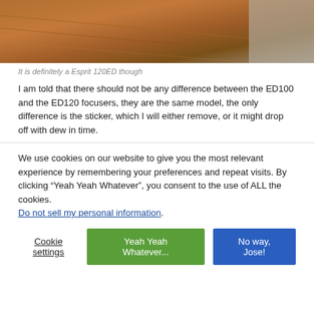[Figure (photo): Photo of a wooden surface, warm brown tones, partial view of a telescope or equipment]
It is definitely a Esprit 120ED though
I am told that there should not be any difference between the ED100 and the ED120 focusers, they are the same model, the only difference is the sticker, which I will either remove, or it might drop off with dew in time.
We use cookies on our website to give you the most relevant experience by remembering your preferences and repeat visits. By clicking “Yeah Yeah Whatever”, you consent to the use of ALL the cookies.
Do not sell my personal information.
Cookie settings  Yeah Yeah Whatever...  No way, Jose!